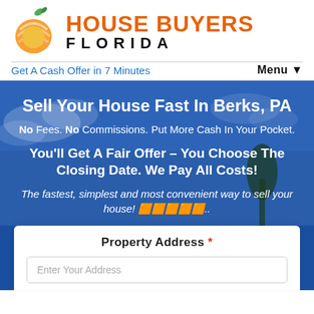[Figure (logo): House Buyers Florida logo with orange peach/fruit icon and orange text 'HOUSE BUYERS' above black spaced text 'FLORIDA']
Get A Cash Offer in 7 Minutes
Menu ▼
Sell Your House Fast In Berks, PA
No Fees. No Commissions. Put More Cash In Your Pocket.
You'll Get A Fair Offer – You Choose The Closing Date. We Pay All Costs!
The fastest, simplest and most convenient way to sell your house! 🏠🏠🏠🏠🏠..
Property Address *
Enter Your Address